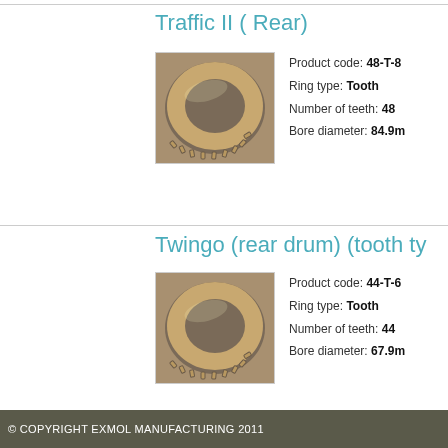Traffic II ( Rear)
[Figure (photo): Circular toothed ABS ring (tooth type) shown from above, metallic bronze/gold color]
Product code: 48-T-8
Ring type: Tooth
Number of teeth: 48
Bore diameter: 84.9m
Twingo (rear drum) (tooth ty
[Figure (photo): Circular toothed ABS ring (tooth type) shown from above, metallic bronze/gold color]
Product code: 44-T-6
Ring type: Tooth
Number of teeth: 44
Bore diameter: 67.9m
© COPYRIGHT EXMOL MANUFACTURING 2011